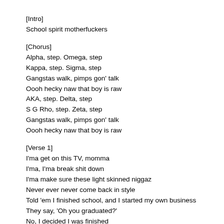[Intro]
School spirit motherfuckers
[Chorus]
Alpha, step. Omega, step
Kappa, step. Sigma, step
Gangstas walk, pimps gon' talk
Oooh hecky naw that boy is raw
AKA, step. Delta, step
S G Rho, step. Zeta, step
Gangstas walk, pimps gon' talk
Oooh hecky naw that boy is raw
[Verse 1]
I'ma get on this TV, momma
I'ma, I'ma break shit down
I'ma make sure these light skinned niggaz
Never ever never come back in style
Told 'em I finished school, and I started my own business
They say, 'Oh you graduated?'
No, I decided I was finished
Chasin' y'all dreams and what you've got planned
Now I spit it so hot you got tanned
Back to school and I hate it there, I hate it there
Everything I want I gotta wait a year, I wait a year
This nigga graduated at the top of my class..
I went to Cheesecake, he was a motherfucking waiter there